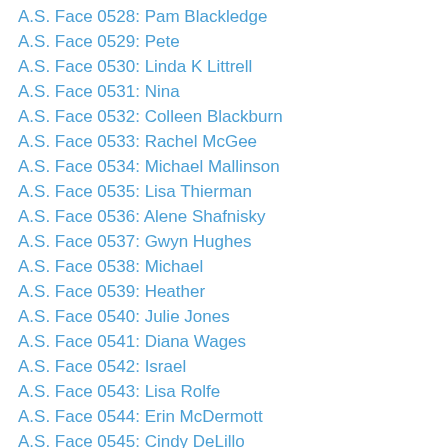A.S. Face 0528: Pam Blackledge
A.S. Face 0529: Pete
A.S. Face 0530: Linda K Littrell
A.S. Face 0531: Nina
A.S. Face 0532: Colleen Blackburn
A.S. Face 0533: Rachel McGee
A.S. Face 0534: Michael Mallinson
A.S. Face 0535: Lisa Thierman
A.S. Face 0536: Alene Shafnisky
A.S. Face 0537: Gwyn Hughes
A.S. Face 0538: Michael
A.S. Face 0539: Heather
A.S. Face 0540: Julie Jones
A.S. Face 0541: Diana Wages
A.S. Face 0542: Israel
A.S. Face 0543: Lisa Rolfe
A.S. Face 0544: Erin McDermott
A.S. Face 0545: Cindy DeLillo
A.S. Face 0546: Faishal Alawi
A.S. Face 0547: Alyssa Savitski